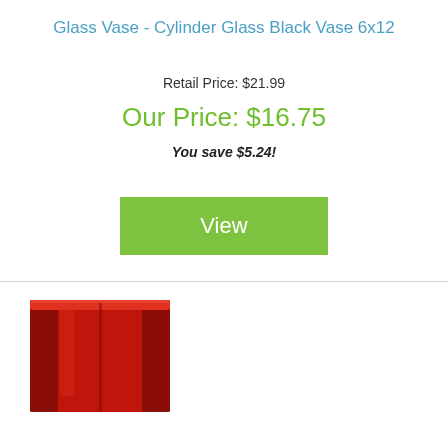Glass Vase - Cylinder Glass Black Vase 6x12
Retail Price: $21.99
Our Price: $16.75
You save $5.24!
View
[Figure (photo): Red square glass vase, partially cropped at bottom of page]